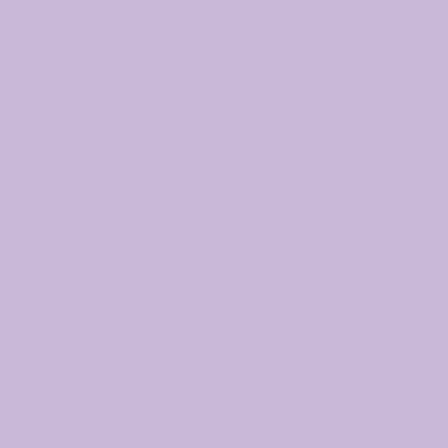[Figure (screenshot): Top purple/violet decorative image banner cropped at top of page]
<div align="center"><a href="http://www.betweendandr.com" title="Between D&R"><img
ARCHIVES
Sélectionner un mois (dropdown)
MÉTA
Connexion
Flux des publications
Flux des commentaires
Site de WordPress-FR
© Between dreams and reality